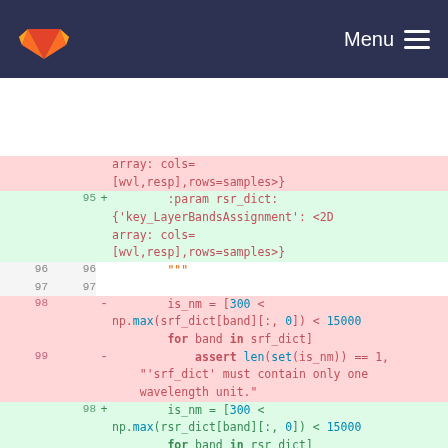GitLab logo | Menu
[Figure (screenshot): Code diff view showing changes from srf_dict to rsr_dict in Python source code. Lines 95-99 shown with deletions (pink) and additions (green).]